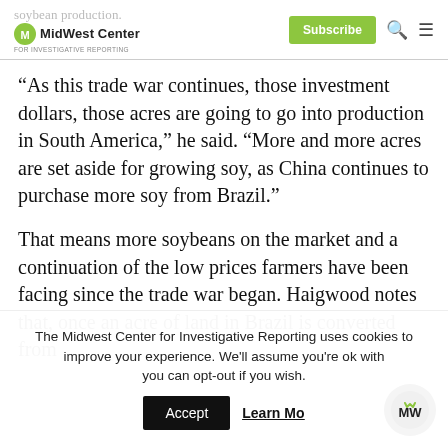soybean production. MidWest Center for Investigative Reporting | Subscribe
“As this trade war continues, those investment dollars, those acres are going to go into production in South America,” he said. “More and more acres are set aside for growing soy, as China continues to purchase more soy from Brazil.”
That means more soybeans on the market and a continuation of the low prices farmers have been facing since the trade war began. Haigwood notes that, once an acre of land in Brazil is converted from
The Midwest Center for Investigative Reporting uses cookies to improve your experience. We’ll assume you’re ok with you can opt-out if you wish. Accept Learn More